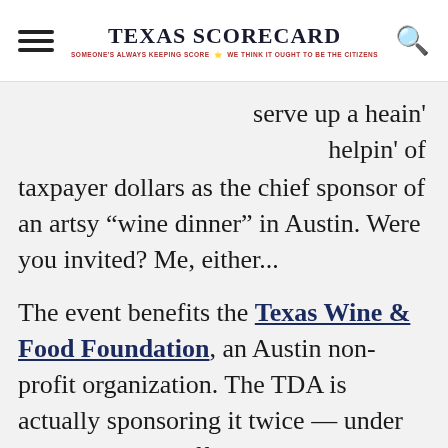TEXAS SCORECARD — SOMEONE'S ALWAYS KEEPING SCORE. WE THINK IT OUGHT TO BE THE CITIZENS.
serve up a heain' helpin' of taxpayer dollars as the chief sponsor of an artsy “wine dinner” in Austin. Were you invited? Me, either...
The event benefits the Texas Wine & Food Foundation, an Austin non-profit organization. The TDA is actually sponsoring it twice — under their name and official logo, as well as